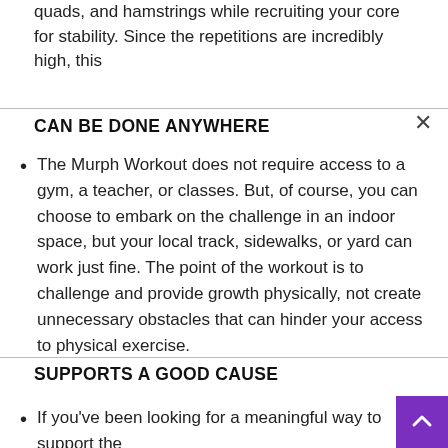quads, and hamstrings while recruiting your core for stability. Since the repetitions are incredibly high, this
CAN BE DONE ANYWHERE
The Murph Workout does not require access to a gym, a teacher, or classes. But, of course, you can choose to embark on the challenge in an indoor space, but your local track, sidewalks, or yard can work just fine. The point of the workout is to challenge and provide growth physically, not create unnecessary obstacles that can hinder your access to physical exercise.
SUPPORTS A GOOD CAUSE
If you've been looking for a meaningful way to support the